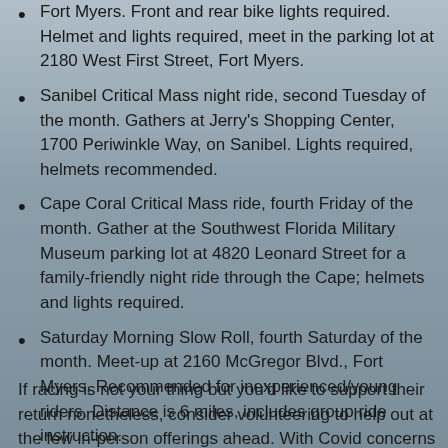Fort Myers. Front and rear bike lights required. Helmet and lights required, meet in the parking lot at 2180 West First Street, Fort Myers.
Sanibel Critical Mass night ride, second Tuesday of the month. Gathers at Jerry's Shopping Center, 1700 Periwinkle Way, on Sanibel. Lights required, helmets recommended.
Cape Coral Critical Mass ride, fourth Friday of the month. Gather at the Southwest Florida Military Museum parking lot at 4820 Leonard Street for a family-friendly night ride through the Cape; helmets and lights required.
Saturday Morning Slow Roll, fourth Saturday of the month. Meet-up at 2160 McGregor Blvd., Fort Myers. Recommended for inexperienced/young riders. Distance is 6 miles, includes group ride instruction.
If racing is not your thing but you'd like to support their return nonetheless, consider volunteering to help out at the few in-person offerings ahead. With Covid concerns still corralling